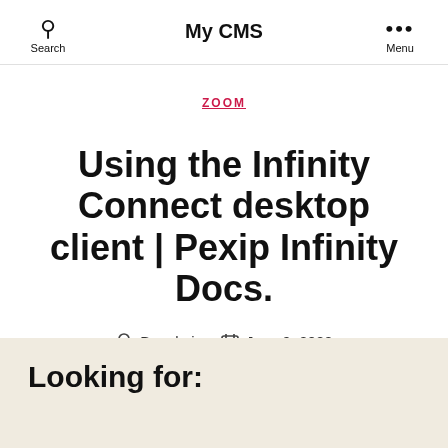My CMS
ZOOM
Using the Infinity Connect desktop client | Pexip Infinity Docs.
By admin  June 9, 2022
Looking for: